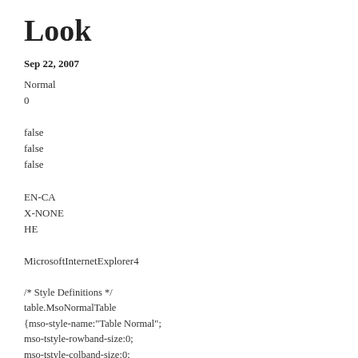Look
Sep 22, 2007
Normal
0
false
false
false
EN-CA
X-NONE
HE
MicrosoftInternetExplorer4
/* Style Definitions */
table.MsoNormalTable
{mso-style-name:"Table Normal";
mso-tstyle-rowband-size:0;
mso-tstyle-colband-size:0;